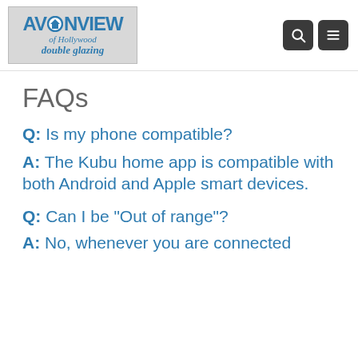[Figure (logo): Avonview of Hollywood double glazing logo with house icon]
FAQs
Q: Is my phone compatible?
A: The Kubu home app is compatible with both Android and Apple smart devices.
Q: Can I be "Out of range"?
A: No, whenever you are connected